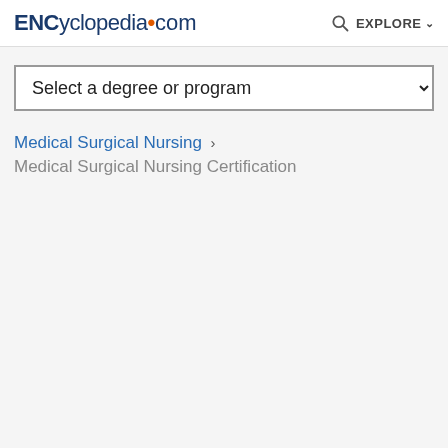ENCYCLopedia.com EXPLORE
Select a degree or program
Medical Surgical Nursing › Medical Surgical Nursing Certification